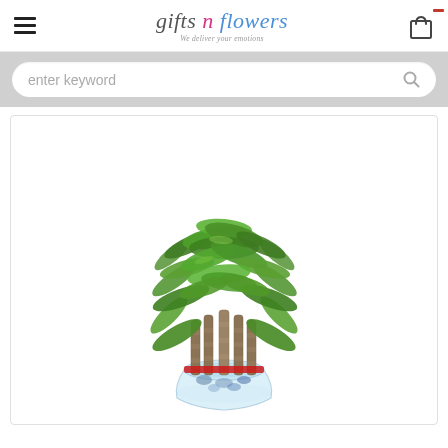gifts n flowers — We deliver your emotions
enter keyword
[Figure (photo): Lucky bamboo plant with green leaves arranged in a glass vase on a white background]